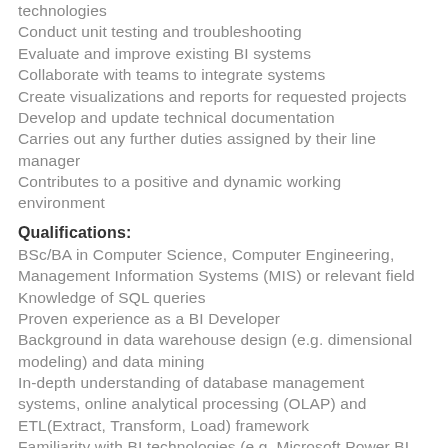technologies
Conduct unit testing and troubleshooting
Evaluate and improve existing BI systems
Collaborate with teams to integrate systems
Create visualizations and reports for requested projects
Develop and update technical documentation
Carries out any further duties assigned by their line manager
Contributes to a positive and dynamic working environment
Qualifications:
BSc/BA in Computer Science, Computer Engineering, Management Information Systems (MIS) or relevant field
Knowledge of SQL queries
Proven experience as a BI Developer
Background in data warehouse design (e.g. dimensional modeling) and data mining
In-depth understanding of database management systems, online analytical processing (OLAP) and ETL(Extract, Transform, Load) framework
Familiarity with BI technologies (e.g. Microsoft Power BI,